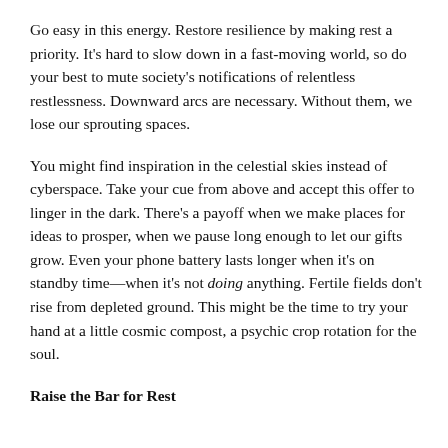Go easy in this energy. Restore resilience by making rest a priority. It's hard to slow down in a fast-moving world, so do your best to mute society's notifications of relentless restlessness. Downward arcs are necessary. Without them, we lose our sprouting spaces.
You might find inspiration in the celestial skies instead of cyberspace. Take your cue from above and accept this offer to linger in the dark. There's a payoff when we make places for ideas to prosper, when we pause long enough to let our gifts grow. Even your phone battery lasts longer when it's on standby time—when it's not doing anything. Fertile fields don't rise from depleted ground. This might be the time to try your hand at a little cosmic compost, a psychic crop rotation for the soul.
Raise the Bar for Rest